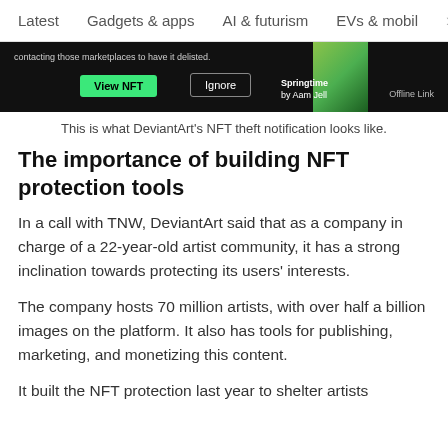Latest   Gadgets & apps   AI & futurism   EVs & mobil  >
[Figure (screenshot): DeviantArt NFT theft notification interface screenshot showing a dark background with 'View NFT' green button, 'Ignore' outline button, 'Springtime by Aam Jell' text, 'Offline Link' text, and a green artwork thumbnail on the right.]
This is what DeviantArt's NFT theft notification looks like.
The importance of building NFT protection tools
In a call with TNW, DeviantArt said that as a company in charge of a 22-year-old artist community, it has a strong inclination towards protecting its users' interests.
The company hosts 70 million artists, with over half a billion images on the platform. It also has tools for publishing, marketing, and monetizing this content.
It built the NFT protection last year to shelter artists